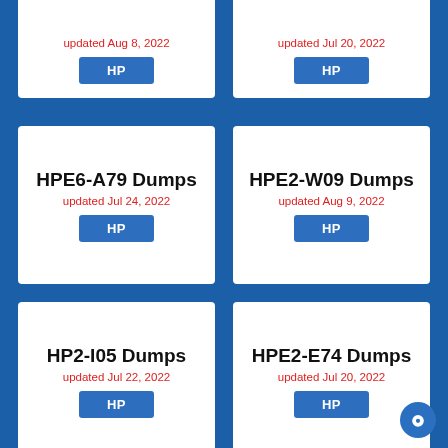updated Aug 8, 2022
HP
updated Jul 20, 2022
HP
HPE6-A79 Dumps
updated Jul 24, 2022
HP
HPE2-W09 Dumps
updated Aug 9, 2022
HP
HP2-I05 Dumps
updated Jul 22, 2022
HP
HPE2-E74 Dumps
updated Jul 20, 2022
HP